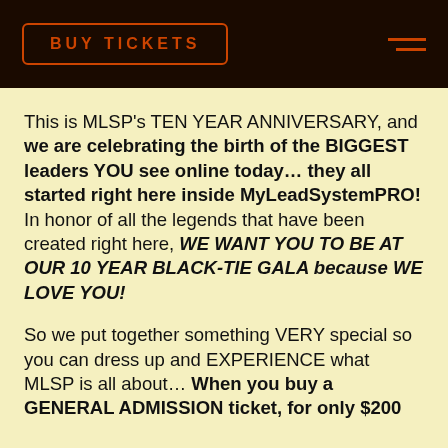BUY TICKETS
This is MLSP's TEN YEAR ANNIVERSARY, and we are celebrating the birth of the BIGGEST leaders YOU see online today… they all started right here inside MyLeadSystemPRO! In honor of all the legends that have been created right here, WE WANT YOU TO BE AT OUR 10 YEAR BLACK-TIE GALA because WE LOVE YOU!
So we put together something VERY special so you can dress up and EXPERIENCE what MLSP is all about… When you buy a GENERAL ADMISSION ticket, for only $200